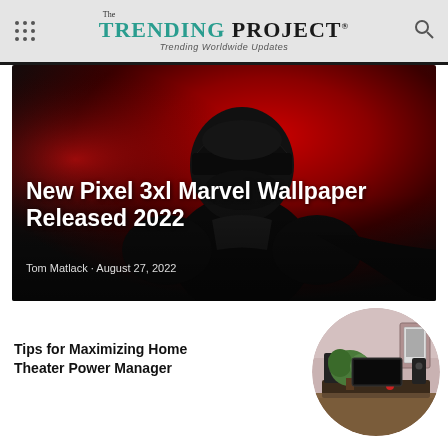The TRENDING PROJECT® — Trending Worldwide Updates
[Figure (photo): Dark Marvel character silhouette against a red background, hero article image]
New Pixel 3xl Marvel Wallpaper Released 2022
Tom Matlack - August 27, 2022
Tips for Maximizing Home Theater Power Manager
[Figure (photo): Circular thumbnail of a home theater room with speakers and plants]